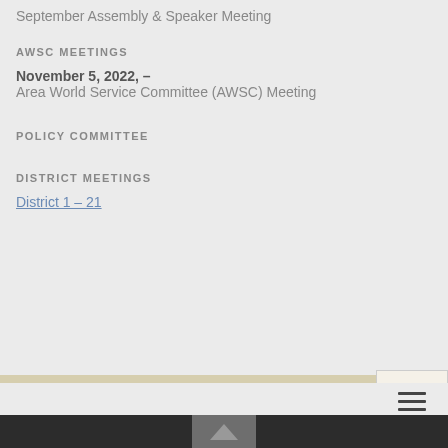September Assembly & Speaker Meeting
AWSC MEETINGS
November 5, 2022, –
Area World Service Committee (AWSC) Meeting
POLICY COMMITTEE
DISTRICT MEETINGS
District 1 – 21